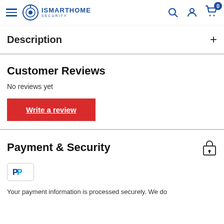ISMARTHOME SECURITY — navigation bar with hamburger menu, logo, search, account, and cart (0 items)
Description
Customer Reviews
No reviews yet
Write a review
Payment & Security
[Figure (logo): PayPal logo badge]
Your payment information is processed securely. We do